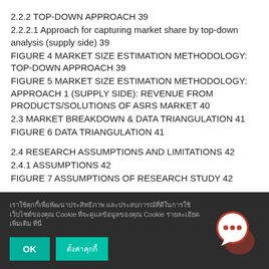2.2.2 TOP-DOWN APPROACH 39
2.2.2.1 Approach for capturing market share by top-down analysis (supply side) 39
FIGURE 4 MARKET SIZE ESTIMATION METHODOLOGY: TOP-DOWN APPROACH 39
FIGURE 5 MARKET SIZE ESTIMATION METHODOLOGY: APPROACH 1 (SUPPLY SIDE): REVENUE FROM PRODUCTS/SOLUTIONS OF ASRS MARKET 40
2.3 MARKET BREAKDOWN & DATA TRIANGULATION 41
FIGURE 6 DATA TRIANGULATION 41
2.4 RESEARCH ASSUMPTIONS AND LIMITATIONS 42
2.4.1 ASSUMPTIONS 42
FIGURE 7 ASSUMPTIONS OF RESEARCH STUDY 42
[Figure (other): Cookie consent banner with Thai-language text, OK button, settings button, and chat icon]